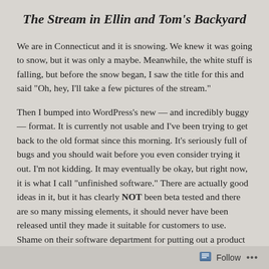The Stream in Ellin and Tom's Backyard
We are in Connecticut and it is snowing. We knew it was going to snow, but it was only a maybe. Meanwhile, the white stuff is falling, but before the snow began, I saw the title for this and said "Oh, hey, I'll take a few pictures of the stream."
Then I bumped into WordPress's new — and incredibly buggy — format. It is currently not usable and I've been trying to get back to the old format since this morning. It's seriously full of bugs and you should wait before you even consider trying it out. I'm not kidding. It may eventually be okay, but right now, it is what I call "unfinished software." There are actually good ideas in it, but it has clearly NOT been beta tested and there are so many missing elements, it should never have been released until they made it suitable for customers to use. Shame on their software department for putting out a product that is so full of bugs it is functionally useless.
Don't go there. It's really not ready to use. They are going to
Follow